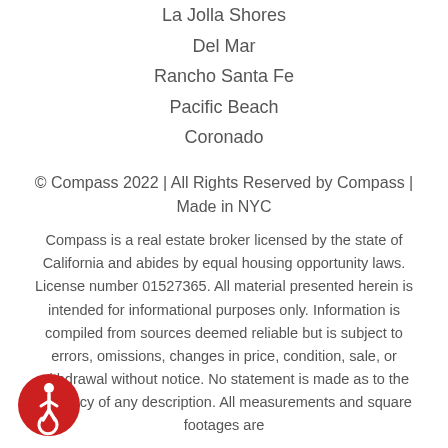La Jolla Shores
Del Mar
Rancho Santa Fe
Pacific Beach
Coronado
© Compass 2022 | All Rights Reserved by Compass | Made in NYC
Compass is a real estate broker licensed by the state of California and abides by equal housing opportunity laws. License number 01527365. All material presented herein is intended for informational purposes only. Information is compiled from sources deemed reliable but is subject to errors, omissions, changes in price, condition, sale, or withdrawal without notice. No statement is made as to the accuracy of any description. All measurements and square footages are
[Figure (illustration): Accessibility icon — red circle with white wheelchair user symbol]